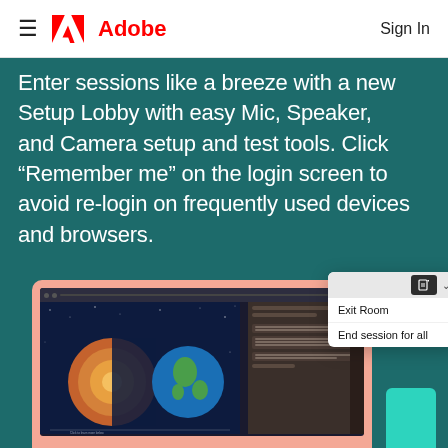Adobe | Sign In
Enter sessions like a breeze with a new Setup Lobby with easy Mic, Speaker, and Camera setup and test tools. Click “Remember me” on the login screen to avoid re-login on frequently used devices and browsers.
[Figure (screenshot): Screenshot of Adobe Connect application showing a laptop with an earth/geology lesson displayed on screen, with a dropdown menu showing 'Exit Room' and 'End session for all' options, and a teal-colored mobile device at the bottom right.]